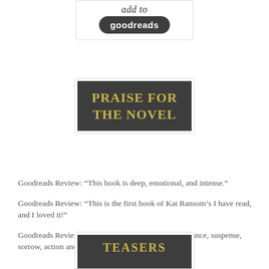[Figure (screenshot): Goodreads 'add to goodreads' widget button with script text above and dark rounded button below]
[Figure (screenshot): Dark banner image with gold serif uppercase text reading 'PRAISE FOR THE NOVEL' on dark gray/charcoal background, white border]
Goodreads Review: “This book is deep, emotional, and intense.”
Goodreads Review: “This is the first book of Kat Ransom’s I have read, and I loved it!”
Goodreads Review: “It had everything - humour, romance, suspense, sorrow, action and steamy heat.”
[Figure (screenshot): Partial dark banner image with gold serif uppercase text beginning 'TEASERS' on dark gray/charcoal background, white border, cropped at bottom]